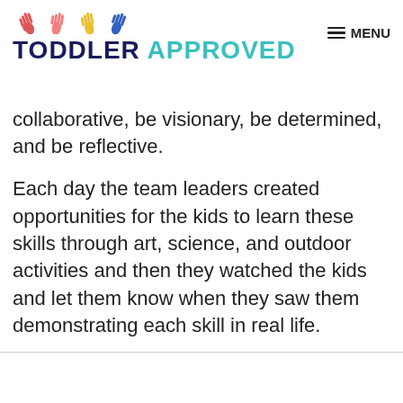TODDLER APPROVED | MENU
collaborative, be visionary, be determined, and be reflective.
Each day the team leaders created opportunities for the kids to learn these skills through art, science, and outdoor activities and then they watched the kids and let them know when they saw them demonstrating each skill in real life.